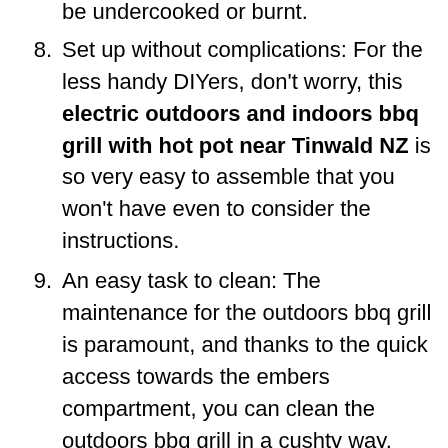be undercooked or burnt.
Set up without complications: For the less handy DIYers, don't worry, this electric outdoors and indoors bbq grill with hot pot near Tinwald NZ is so very easy to assemble that you won't have even to consider the instructions.
An easy task to clean: The maintenance for the outdoors bbq grill is paramount, and thanks to the quick access towards the embers compartment, you can clean the outdoors bbq grill in a cushty way.
It is able to keep the heat: Without even giving it more fire, the electric outdoors